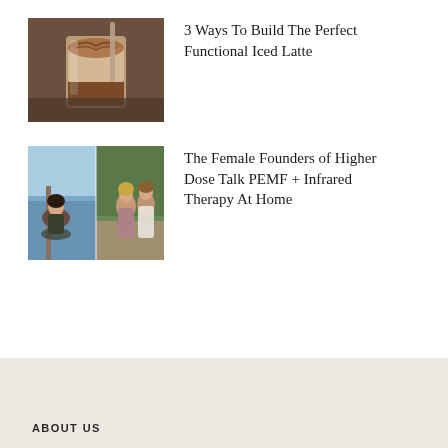[Figure (photo): An iced latte in a clear plastic cup with a straw, viewed from above, showing swirled coffee and cream layers]
3 Ways To Build The Perfect Functional Iced Latte
[Figure (photo): Two women posing outdoors, one by water and one in a garden, split image collage]
The Female Founders of Higher Dose Talk PEMF + Infrared Therapy At Home
ABOUT US